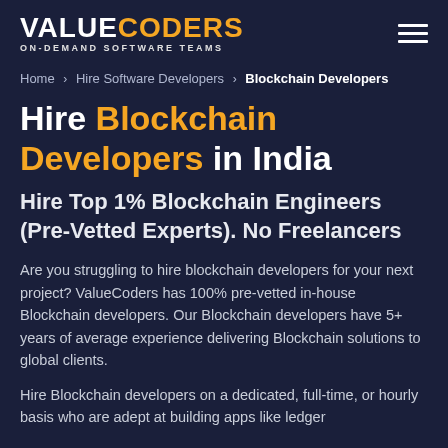VALUECODERS ON-DEMAND SOFTWARE TEAMS
Home > Hire Software Developers > Blockchain Developers
Hire Blockchain Developers in India
Hire Top 1% Blockchain Engineers (Pre-Vetted Experts). No Freelancers
Are you struggling to hire blockchain developers for your next project? ValueCoders has 100% pre-vetted in-house Blockchain developers. Our Blockchain developers have 5+ years of average experience delivering Blockchain solutions to global clients.
Hire Blockchain developers on a dedicated, full-time, or hourly basis who are adept at building apps like ledger